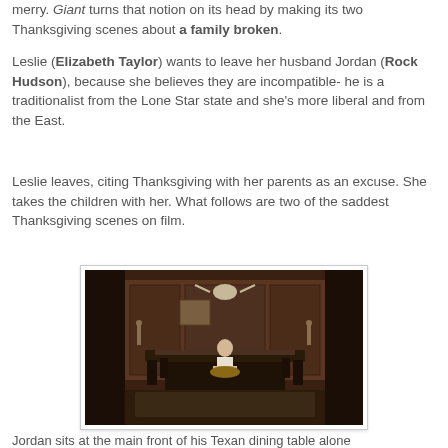merry. Giant turns that notion on its head by making its two Thanksgiving scenes about a family broken.
Leslie (Elizabeth Taylor) wants to leave her husband Jordan (Rock Hudson), because she believes they are incompatible- he is a traditionalist from the Lone Star state and she's more liberal and from the East.
Leslie leaves, citing Thanksgiving with her parents as an excuse. She takes the children with her. What follows are two of the saddest Thanksgiving scenes on film.
[Figure (photo): A man sitting alone at the far end of a long dark wood dining table in an ornate wood-paneled Texas ranch dining room, with bull skull mounted on wall and elaborate furniture, suggesting loneliness.]
Jordan sits at the main front of his Texan dining table alone